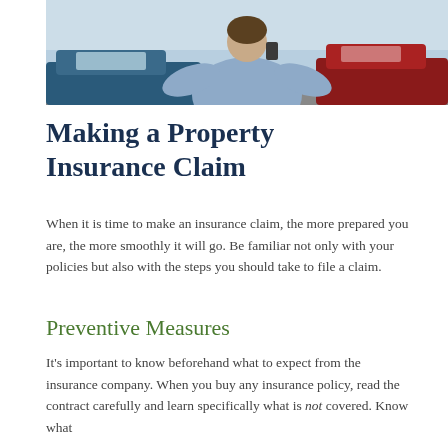[Figure (photo): A person standing between two cars after an accident, viewed from behind, wearing a light blue shirt. Blue car on the left, white/grey car on the right.]
Making a Property Insurance Claim
When it is time to make an insurance claim, the more prepared you are, the more smoothly it will go. Be familiar not only with your policies but also with the steps you should take to file a claim.
Preventive Measures
It's important to know beforehand what to expect from the insurance company. When you buy any insurance policy, read the contract carefully and learn specifically what is not covered. Know what